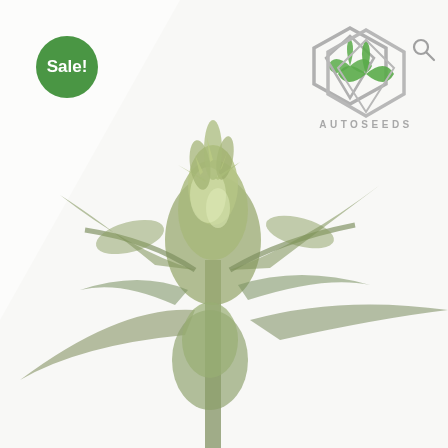[Figure (photo): Auto Seeds product page showing a close-up photo of a cannabis plant with green buds and leaves on a white/light grey faded background. A green 'Sale!' badge is in the top left corner. The Auto Seeds logo (geometric diamond/leaf shape in grey and green) and brand name appear in the top right, along with a search icon.]